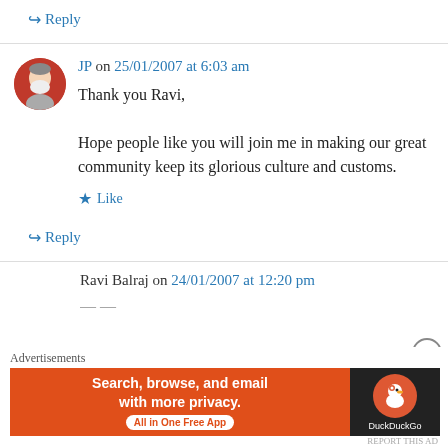↪ Reply
JP on 25/01/2007 at 6:03 am
Thank you Ravi,
Hope people like you will join me in making our great community keep its glorious culture and customs.
★ Like
↪ Reply
Ravi Balraj on 24/01/2007 at 12:20 pm
[Figure (screenshot): DuckDuckGo advertisement banner: orange left section with text 'Search, browse, and email with more privacy. All in One Free App' and dark right section with DuckDuckGo duck logo]